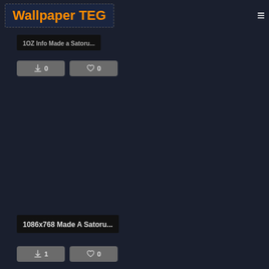Wallpaper TEG
1OZ Info Made a Satoru...
0 downloads  0 likes
1086x768 Made A Satoru...
1 download  0 likes